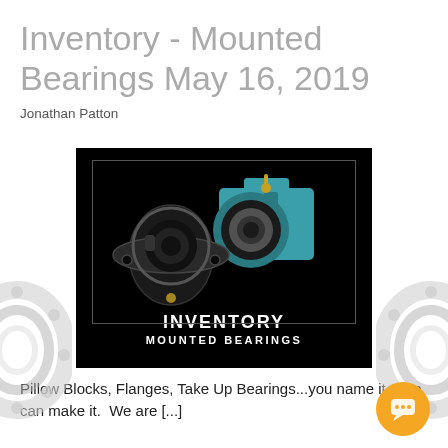Inventory - Mounted Bearings May 16, 2019
Jonathan Patton
[Figure (photo): Product photo of mounted bearings (pillow block and take-up bearing) on black background with text: INVENTORY MOUNTED BEARINGS]
Pillow Blocks, Flanges, Take Up Bearings...you name it....we can make it.  We are [...]